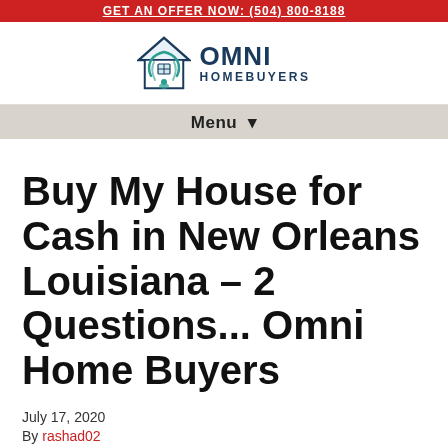GET AN OFFER NOW: (504) 800-8188
[Figure (logo): Omni Homebuyers logo with house icon and text OMNI HOMEBUYERS]
Menu ▾
Buy My House for Cash in New Orleans Louisiana – 2 Questions... Omni Home Buyers
July 17, 2020
By rashad02